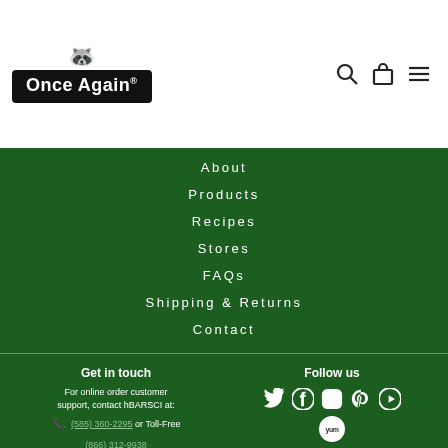[Figure (logo): Once Again brand logo with raccoon mascot on black background]
About
Products
Recipes
Stores
FAQs
Shipping & Returns
Contact
Get in touch
For online order customer support, contact hBARSCI at:
(585) 360-2295 or Toll-Free (866) 312-9938
Follow us
[Figure (illustration): Social media icons: Twitter, Facebook, Instagram, Pinterest, YouTube, Yummly]